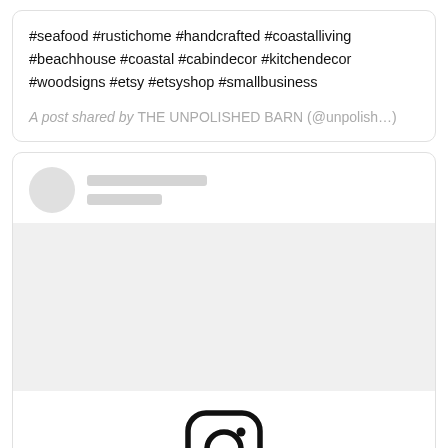#seafood #rustichome #handcrafted #coastalliving #beachhouse #coastal #cabindecor #kitchendecor #woodsigns #etsy #etsyshop #smallbusiness
A post shared by THE UNPOLISHED BARN (@unpolish…
[Figure (screenshot): Instagram embed loading placeholder with profile avatar circle, two gray placeholder bars for username, a gray image area, the Instagram camera logo icon, and a 'View this post on Instagram' link in blue.]